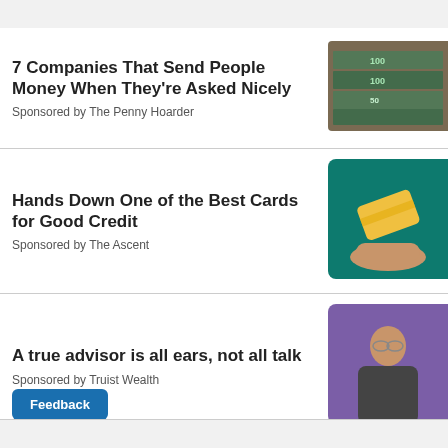7 Companies That Send People Money When They’re Asked Nicely
Sponsored by The Penny Hoarder
[Figure (photo): Stacks of $100 and $50 US dollar bills bundled together]
Hands Down One of the Best Cards for Good Credit
Sponsored by The Ascent
[Figure (photo): A hand holding up a yellow credit card on a teal/green background]
A true advisor is all ears, not all talk
Sponsored by Truist Wealth
[Figure (photo): A smiling older man in a dark jacket seated against a purple background]
Feedback